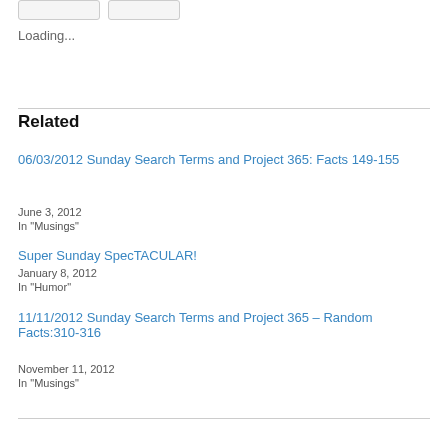Loading...
Related
06/03/2012 Sunday Search Terms and Project 365: Facts 149-155
June 3, 2012
In "Musings"
Super Sunday SpecTACULAR!
January 8, 2012
In "Humor"
11/11/2012 Sunday Search Terms and Project 365 – Random Facts:310-316
November 11, 2012
In "Musings"